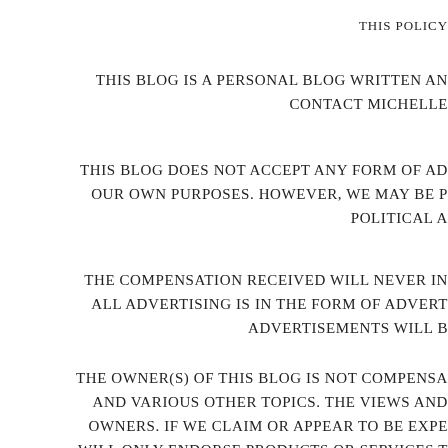THIS POLICY
THIS BLOG IS A PERSONAL BLOG WRITTEN AN CONTACT MICHELLE
THIS BLOG DOES NOT ACCEPT ANY FORM OF AD OUR OWN PURPOSES. HOWEVER, WE MAY BE P POLITICAL A
THE COMPENSATION RECEIVED WILL NEVER IN ALL ADVERTISING IS IN THE FORM OF ADVERT ADVERTISEMENTS WILL B
THE OWNER(S) OF THIS BLOG IS NOT COMPENSA AND VARIOUS OTHER TOPICS. THE VIEWS AND OWNERS. IF WE CLAIM OR APPEAR TO BE EXPE WILL ONLY ENDORSE PRODUCTS OR SERVICES T SUCH ENDORSEMENT. ANY PRODUCT CLAIM, ST